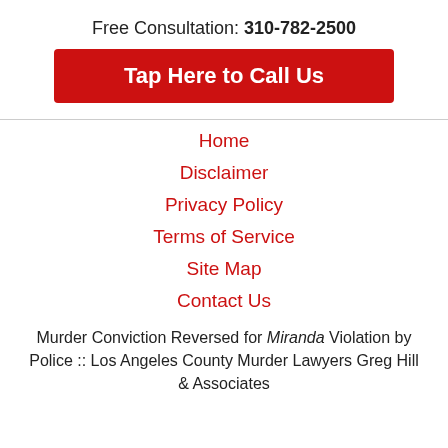Free Consultation: 310-782-2500
Tap Here to Call Us
Home
Disclaimer
Privacy Policy
Terms of Service
Site Map
Contact Us
Murder Conviction Reversed for Miranda Violation by Police :: Los Angeles County Murder Lawyers Greg Hill & Associates